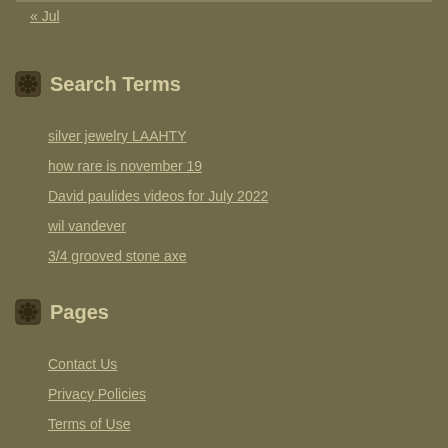« Jul
Search Terms
silver jewelry LAAHTY
how rare is november 19
David paulides videos for July 2022
wil vandever
3/4 grooved stone axe
Pages
Contact Us
Privacy Policies
Terms of Use